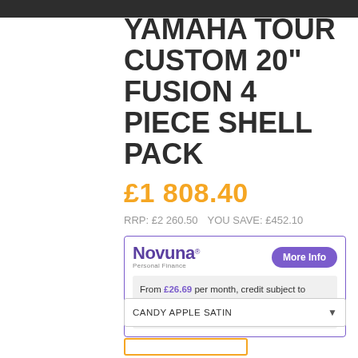YAMAHA TOUR CUSTOM 20" FUSION 4 PIECE SHELL PACK
£1 808.40
RRP: £2 260.50   YOU SAVE: £452.10
Novuna Personal Finance — More Info — From £26.69 per month, credit subject to status and affordability. Terms & Conditions Apply
CANDY APPLE SATIN